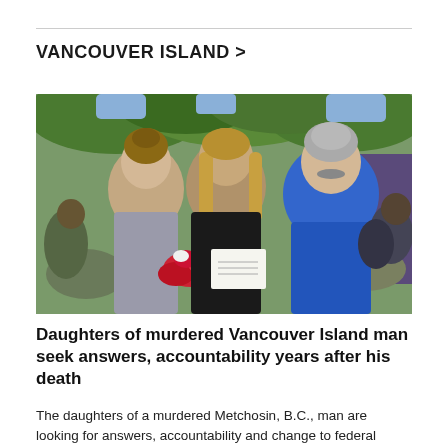VANCOUVER ISLAND >
[Figure (photo): Three people posing together outdoors at what appears to be a graduation ceremony. A young woman in the center holds red roses and a certificate while wearing a graduation gown. An older woman is on the left and an older man in a blue shirt is on the right. Trees are visible in the background.]
Daughters of murdered Vancouver Island man seek answers, accountability years after his death
The daughters of a murdered Metchosin, B.C., man are looking for answers, accountability and change to federal